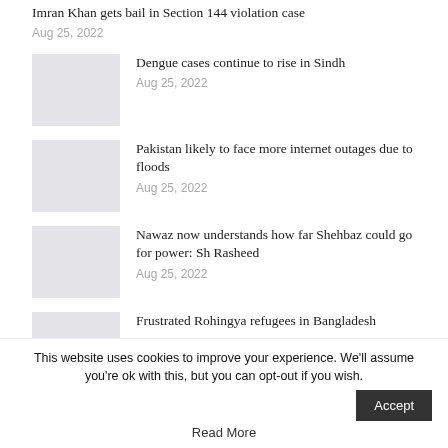Imran Khan gets bail in Section 144 violation case
Aug 25, 2022
Dengue cases continue to rise in Sindh
Aug 25, 2022
Pakistan likely to face more internet outages due to floods
Aug 25, 2022
Nawaz now understands how far Shehbaz could go for power: Sh Rasheed
Aug 25, 2022
Frustrated Rohingya refugees in Bangladesh
This website uses cookies to improve your experience. We'll assume you're ok with this, but you can opt-out if you wish.
Accept
Read More